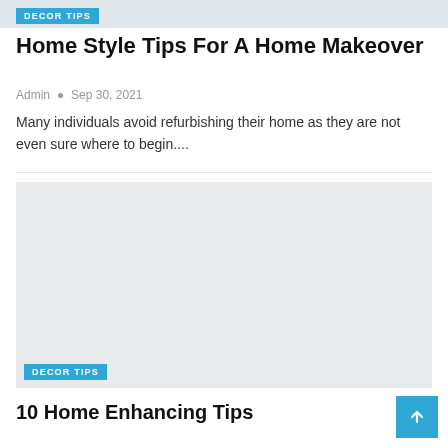[Figure (photo): Cropped top of a home decor image with a DECOR TIPS badge overlay]
Home Style Tips For A Home Makeover
Admin • Sep 30, 2021
Many individuals avoid refurbishing their home as they are not even sure where to begin....
[Figure (photo): Large light grey placeholder image for second article with DECOR TIPS badge at bottom left]
10 Home Enhancing Tips